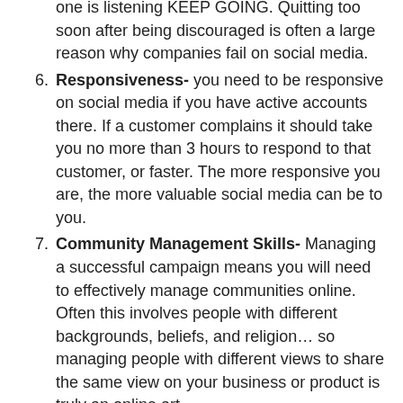(continued) one is listening KEEP GOING. Quitting too soon after being discouraged is often a large reason why companies fail on social media.
6. Responsiveness- you need to be responsive on social media if you have active accounts there. If a customer complains it should take you no more than 3 hours to respond to that customer, or faster. The more responsive you are, the more valuable social media can be to you.
7. Community Management Skills- Managing a successful campaign means you will need to effectively manage communities online. Often this involves people with different backgrounds, beliefs, and religion… so managing people with different views to share the same view on your business or product is truly an online art.
8. Creativity- The is obvious to most, but it's often overlooked. Many believe simply being on social media is being creative, it isn't. Post contests, engage, and interact in a creative way. It will